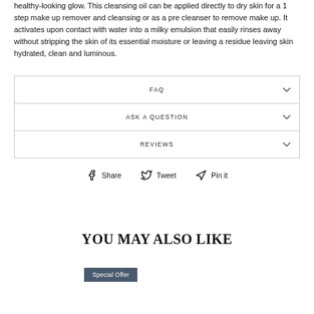healthy-looking glow. This cleansing oil can be applied directly to dry skin for a 1 step make up remover and cleansing or as a pre cleanser to remove make up. It activates upon contact with water into a milky emulsion that easily rinses away without stripping the skin of its essential moisture or leaving a residue leaving skin hydrated, clean and luminous.
FAQ
ASK A QUESTION
REVIEWS
Share  Tweet  Pin it
YOU MAY ALSO LIKE
Special Offer